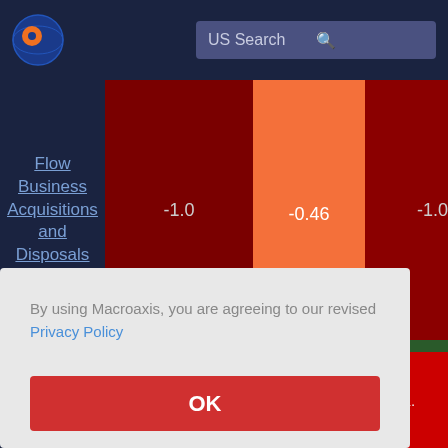[Figure (logo): Macroaxis globe logo - blue circle with orange and dark blue design]
US Search
Flow Business Acquisitions and Disposals
[Figure (infographic): Treemap showing financial data with cells labeled -1.0, -0.46, -1.0 in dark red and orange colors, and 0.9 in green. A cookie consent modal overlays the bottom portion.]
By using Macroaxis, you are agreeing to our revised Privacy Policy
OK